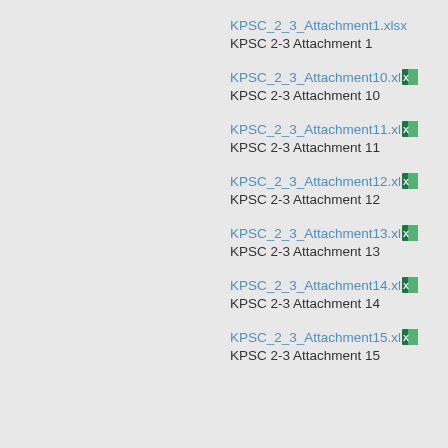KPSC_2_3_Attachment1.xlsx
KPSC 2-3 Attachment 1
KPSC_2_3_Attachment10.xlsx
KPSC 2-3 Attachment 10
KPSC_2_3_Attachment11.xlsx
KPSC 2-3 Attachment 11
KPSC_2_3_Attachment12.xlsx
KPSC 2-3 Attachment 12
KPSC_2_3_Attachment13.xlsx
KPSC 2-3 Attachment 13
KPSC_2_3_Attachment14.xlsx
KPSC 2-3 Attachment 14
KPSC_2_3_Attachment15.xlsx
KPSC 2-3 Attachment 15